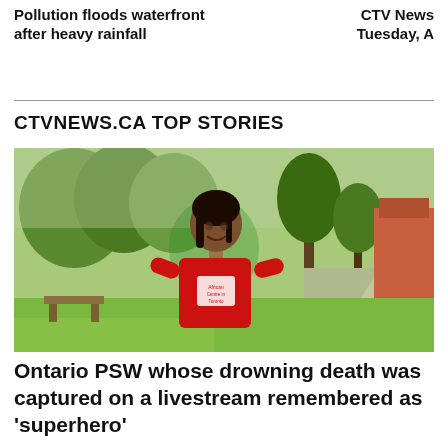Pollution floods waterfront after heavy rainfall
CTV News Tuesday, A
CTVNEWS.CA TOP STORIES
[Figure (photo): A smiling woman wearing a red t-shirt with 'African Centre in Toronto' logo, standing outdoors in a park with trees and a red brick building in the background.]
Ontario PSW whose drowning death was captured on a livestream remembered as 'superhero'